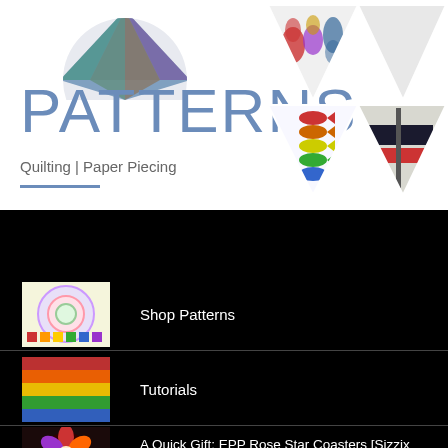[Figure (illustration): Top banner with quilting pattern images. Left side shows circular quilted design partially visible. Right side shows triangular collage of quilted items including fish pattern, heart motif, and striped design.]
PATTERNS
Quilting | Paper Piecing
TODAY'S TOP POSTS
Shop Patterns
Tutorials
A Quick Gift: EPP Rose Star Coasters [Sizzix Tutorial]